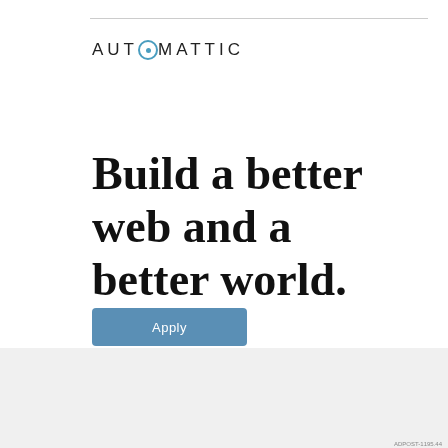[Figure (logo): Automattic company logo in uppercase spaced letters with a circular 'O' icon in teal/blue]
Build a better web and a better world.
[Figure (other): Blue 'Apply' button]
[Figure (other): Close (X) circular button in the lower right]
Advertisements
[Figure (logo): WordPress VIP logo — W circle icon and 'vip' text]
[Figure (infographic): Colorful gradient advertisement banner with 'Learn more →' button]